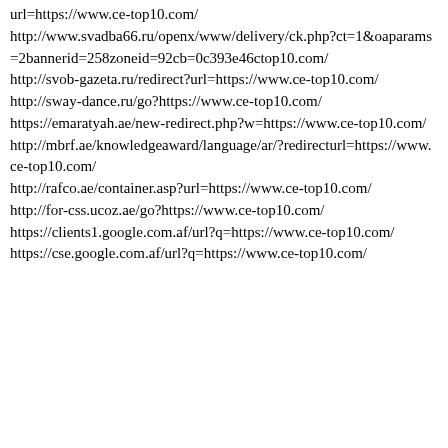url=https://www.ce-top10.com/
http://www.svadba66.ru/openx/www/delivery/ck.php?ct=1&oaparams=2bannerid=258zoneid=92cb=0c393e46ctop10.com/
http://svob-gazeta.ru/redirect?url=https://www.ce-top10.com/
http://sway-dance.ru/go?https://www.ce-top10.com/
https://emaratyah.ae/new-redirect.php?w=https://www.ce-top10.com/
http://mbrf.ae/knowledgeaward/language/ar/?redirecturl=https://www.ce-top10.com/
http://rafco.ae/container.asp?url=https://www.ce-top10.com/
http://for-css.ucoz.ae/go?https://www.ce-top10.com/
https://clients1.google.com.af/url?q=https://www.ce-top10.com/
https://cse.google.com.af/url?q=https://www.ce-top10.com/